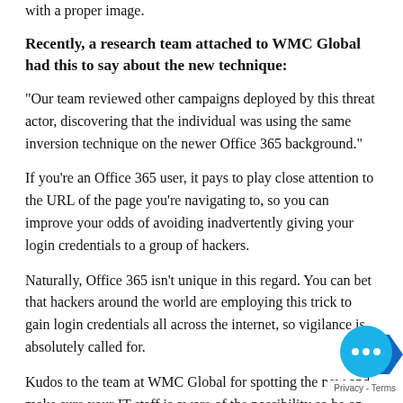with a proper image.
Recently, a research team attached to WMC Global had this to say about the new technique:
"Our team reviewed other campaigns deployed by this threat actor, discovering that the individual was using the same inversion technique on the newer Office 365 background."
If you're an Office 365 user, it pays to play close attention to the URL of the page you're navigating to, so you can improve your odds of avoiding inadvertently giving your login credentials to a group of hackers.
Naturally, Office 365 isn't unique in this regard. You can bet that hackers around the world are employing this trick to gain login credentials all across the internet, so vigilance is absolutely called for.
Kudos to the team at WMC Global for spotting the new and make sure your IT staff is aware of the possibility so be on high alert and work to protect your users.